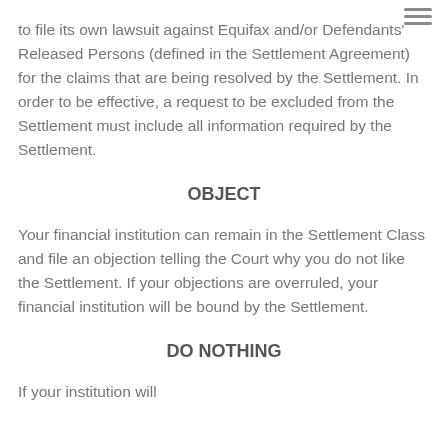to file its own lawsuit against Equifax and/or Defendants' Released Persons (defined in the Settlement Agreement) for the claims that are being resolved by the Settlement. In order to be effective, a request to be excluded from the Settlement must include all information required by the Settlement.
OBJECT
Your financial institution can remain in the Settlement Class and file an objection telling the Court why you do not like the Settlement. If your objections are overruled, your financial institution will be bound by the Settlement.
DO NOTHING
If your institution will…